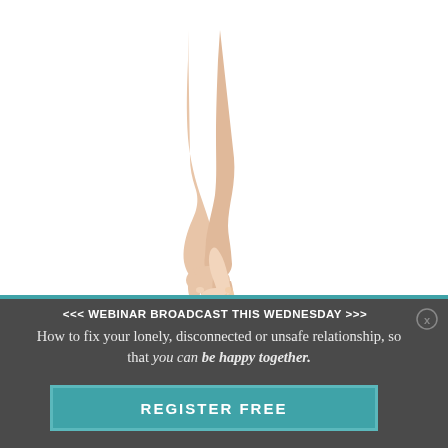tough times.
[Figure (photo): An adult hand holding a small child's hand against a white background]
<<< WEBINAR BROADCAST THIS WEDNESDAY >>>
How to fix your lonely, disconnected or unsafe relationship, so that you can be happy together.
REGISTER FREE
that our parents will always be available